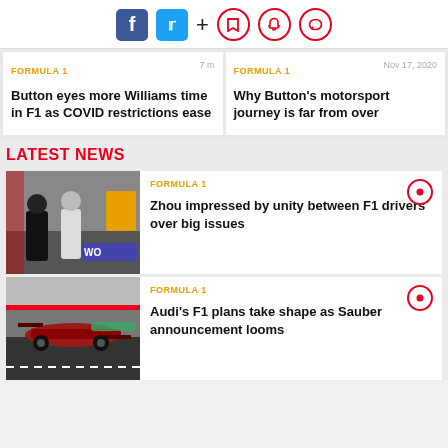[Figure (infographic): Social media icons: Facebook (blue), Twitter (light blue), plus sign, and three red circle icons (bookmark, bell, chat)]
FORMULA 1   7 m
FORMULA 1   Nov 17, 2020
Button eyes more Williams time in F1 as COVID restrictions ease
Why Button's motorsport journey is far from over
LATEST NEWS
[Figure (photo): Two F1 drivers in race suits sitting on a pit wall, wearing helmets, with a 'W0' banner visible]
FORMULA 1
Zhou impressed by unity between F1 drivers over big issues
[Figure (photo): F1 racing car on track, dark red/black car, pitlane or circuit background]
FORMULA 1
Audi's F1 plans take shape as Sauber announcement looms